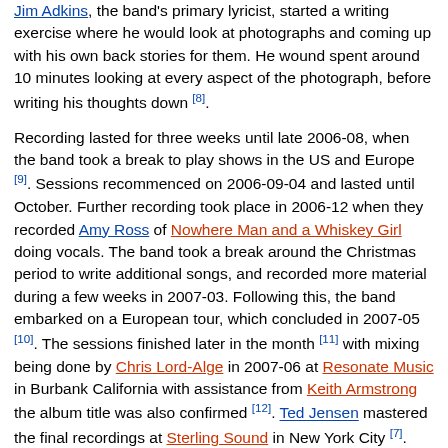Jim Adkins, the band's primary lyricist, started a writing exercise where he would look at photographs and coming up with his own back stories for them. He wound spent around 10 minutes looking at every aspect of the photograph, before writing his thoughts down [8].
Recording lasted for three weeks until late 2006-08, when the band took a break to play shows in the US and Europe [9]. Sessions recommenced on 2006-09-04 and lasted until October. Further recording took place in 2006-12 when they recorded Amy Ross of Nowhere Man and a Whiskey Girl doing vocals. The band took a break around the Christmas period to write additional songs, and recorded more material during a few weeks in 2007-03. Following this, the band embarked on a European tour, which concluded in 2007-05 [10]. The sessions finished later in the month [11] with mixing being done by Chris Lord-Alge in 2007-06 at Resonate Music in Burbank California with assistance from Keith Armstrong the album title was also confirmed [12]. Ted Jensen mastered the final recordings at Sterling Sound in New York City [7]. Tom Linton would later